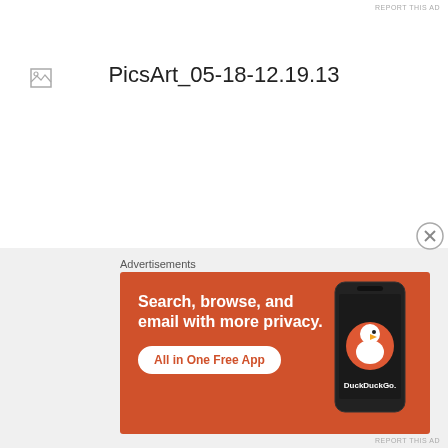REPORT THIS AD
[Figure (illustration): Broken image placeholder icon (small)]
PicsArt_05-18-12.19.13
[Figure (illustration): Close/dismiss button (X circle) for advertisement]
Advertisements
[Figure (illustration): DuckDuckGo advertisement banner with orange background. Text reads: Search, browse, and email with more privacy. All in One Free App. DuckDuckGo. Shows a smartphone with DuckDuckGo app.]
REPORT THIS AD